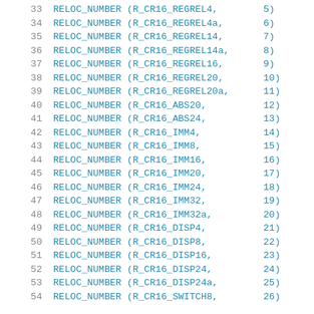33    RELOC_NUMBER (R_CR16_REGREL4,        5)
34    RELOC_NUMBER (R_CR16_REGREL4a,       6)
35    RELOC_NUMBER (R_CR16_REGREL14,       7)
36    RELOC_NUMBER (R_CR16_REGREL14a,      8)
37    RELOC_NUMBER (R_CR16_REGREL16,       9)
38    RELOC_NUMBER (R_CR16_REGREL20,       10)
39    RELOC_NUMBER (R_CR16_REGREL20a,      11)
40    RELOC_NUMBER (R_CR16_ABS20,          12)
41    RELOC_NUMBER (R_CR16_ABS24,          13)
42    RELOC_NUMBER (R_CR16_IMM4,           14)
43    RELOC_NUMBER (R_CR16_IMM8,           15)
44    RELOC_NUMBER (R_CR16_IMM16,          16)
45    RELOC_NUMBER (R_CR16_IMM20,          17)
46    RELOC_NUMBER (R_CR16_IMM24,          18)
47    RELOC_NUMBER (R_CR16_IMM32,          19)
48    RELOC_NUMBER (R_CR16_IMM32a,         20)
49    RELOC_NUMBER (R_CR16_DISP4,          21)
50    RELOC_NUMBER (R_CR16_DISP8,          22)
51    RELOC_NUMBER (R_CR16_DISP16,         23)
52    RELOC_NUMBER (R_CR16_DISP24,         24)
53    RELOC_NUMBER (R_CR16_DISP24a,        25)
54    RELOC_NUMBER (R_CR16_SWITCH8,        26)